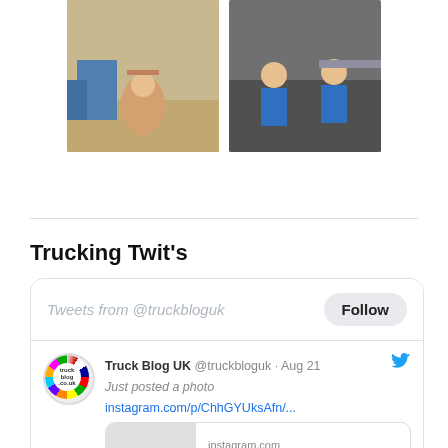[Figure (photo): Two thumbnail photos side by side: left shows a person sitting outdoors near trucks, right shows two people sitting together smiling]
More Photos
Trucking Twit's
[Figure (screenshot): Twitter widget showing tweets from @truckbloguk with a Follow button, and a tweet from Truck Blog UK @truckbloguk on Aug 21 saying 'Just posted a photo instagram.com/p/ChhGYUksAfn/...' with an Instagram card preview showing 'instagram.com' and 'Ben Sheldrake (@truckbloguk) • Instagram photo']